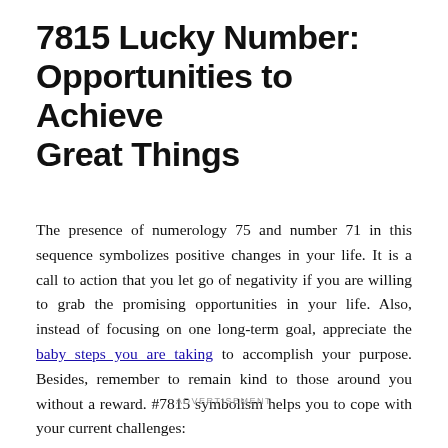7815 Lucky Number: Opportunities to Achieve Great Things
The presence of numerology 75 and number 71 in this sequence symbolizes positive changes in your life. It is a call to action that you let go of negativity if you are willing to grab the promising opportunities in your life. Also, instead of focusing on one long-term goal, appreciate the baby steps you are taking to accomplish your purpose. Besides, remember to remain kind to those around you without a reward. #7815 symbolism helps you to cope with your current challenges:
ADVERTISEMENT